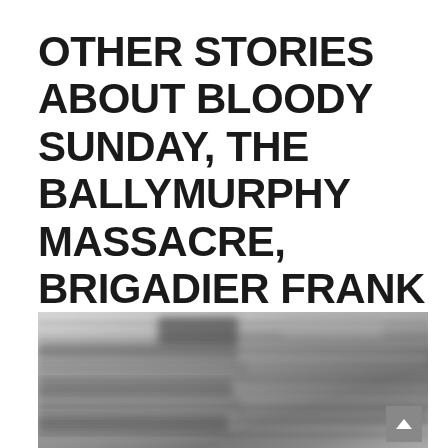OTHER STORIES ABOUT BLOODY SUNDAY, THE BALLYMURPHY MASSACRE, BRIGADIER FRANK KITSON AND COLONEL DEREK WILFORD ON THIS WEBSITE:
[Figure (photo): A blurred grayscale photograph of stacked books or document files viewed from a low angle, with a dark scroll-to-top button in the bottom right corner.]